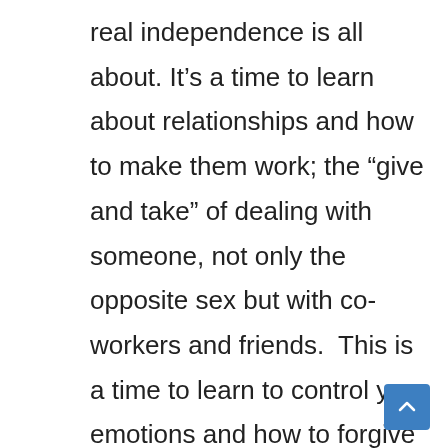real independence is all about. It’s a time to learn about relationships and how to make them work; the “give and take” of dealing with someone, not only the opposite sex but with co-workers and friends.  This is a time to learn to control your emotions and how to forgive and forget when something is amiss. How many times during your teenage years did you forgive your best friend for things they did or said, or how many times did they forgive you? It is a time we learn to handle these issues so we can forge ahead into our